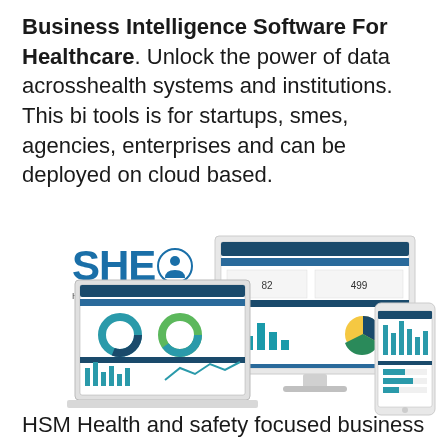Business Intelligence Software For Healthcare. Unlock the power of data acrosshealth systems and institutions. This bi tools is for startups, smes, agencies, enterprises and can be deployed on cloud based.
[Figure (illustration): SHEA Health & Safety Software logo alongside mockup screenshots of the software displayed on desktop monitor, laptop, and mobile phone devices showing dashboards with charts and metrics.]
HSM Health and safety focused business intelligence tool for organisations